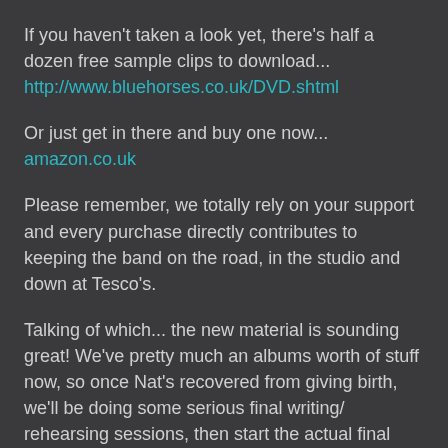If you haven't taken a look yet, there's half a dozen free sample clips to download...
http://www.bluehorses.co.uk/DVD.shtml
Or just get in there and buy one now...
amazon.co.uk
Please remember, we totally rely on your support and every purchase directly contributes to keeping the band on the road, in the studio and down at Tesco's.
Talking of which... the new material is sounding great! We've pretty much an albums worth of stuff now, so once Nat's recovered from giving birth, we'll be doing some serious final writing/ rehearsing sessions, then start the actual final recording process.
As usual, we're moving things on to different heights, depths and whatever the sideways bits are called (I tried widths, but it just don't feel right), and with it being Nat and Jays' first BH album there's a whole bundle of new ideas, influences and